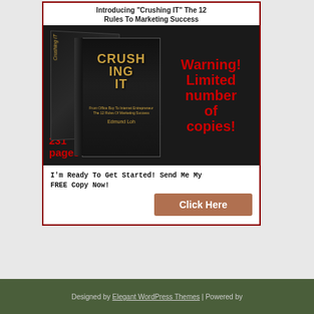Introducing "Crushing IT" The 12 Rules To Marketing Success
[Figure (illustration): Two stacked book covers of 'Crushing IT' by Edmund Loh on dark background, with red warning text 'Warning! Limited number of copies!' and page count '231 pages']
I'm Ready To Get Started! Send Me My FREE Copy Now!
Click Here
Designed by Elegant WordPress Themes | Powered by